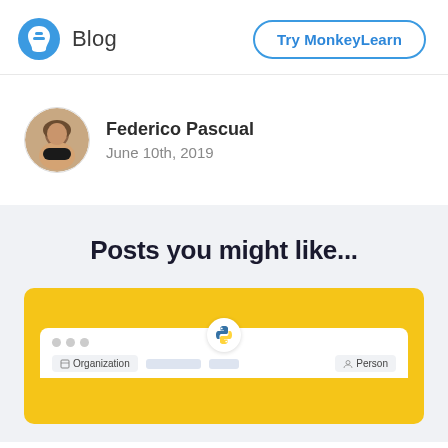Blog | Try MonkeyLearn
Federico Pascual
June 10th, 2019
Posts you might like...
[Figure (screenshot): A card preview with yellow background showing a Python-related blog post card with Organization and Person tags visible at the bottom]